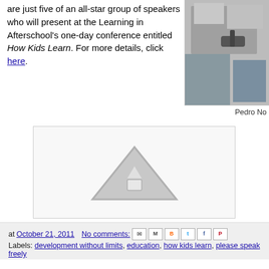are just five of an all-star group of speakers who will present at the Learning in Afterschool's one-day conference entitled How Kids Learn. For more details, click here.
[Figure (photo): Partial photo of a person at a desk with a microphone, cut off at right edge. Labeled 'Pedro No']
Pedro No
[Figure (other): Broken image placeholder with grey triangle/warning icon inside a bordered box]
at October 21, 2011   No comments:
Labels: development without limits, education, how kids learn, please speak freely
Monday, October 17, 2011
Race to Nowhere
By Sam Piha